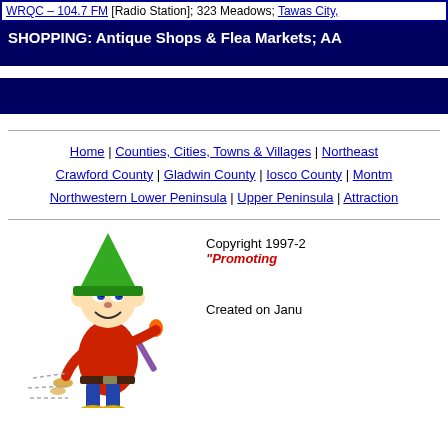WRQC – 104.7 FM [Radio Station]; 323 Meadows; Tawas City, ...
SHOPPING: Antique Shops & Flea Markets, AA...
Home | Counties, Cities, Towns & Villages | Northeast Crawford County | Gladwin County | Iosco County | Montm Northwestern Lower Peninsula | Upper Peninsula | Attraction
[Figure (illustration): Cartoon jester/wizard character juggling or painting, wearing a green pointed hat and red outfit]
Copyright 1997-2...
"Promoting..."

Created on Janu